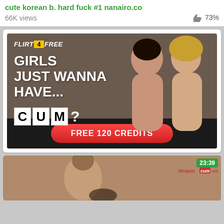cute korean b. hard fuck #1 nanairo.co
66K views   73%
[Figure (photo): Flirt4Free advertisement banner showing two women with text 'GIRLS JUST WANNA HAVE... CUM?' and a red button 'FREE 120 CREDITS']
[Figure (screenshot): Video thumbnail showing a nude figure, with duration badge '23:39' and StraponCum.com logo overlay]